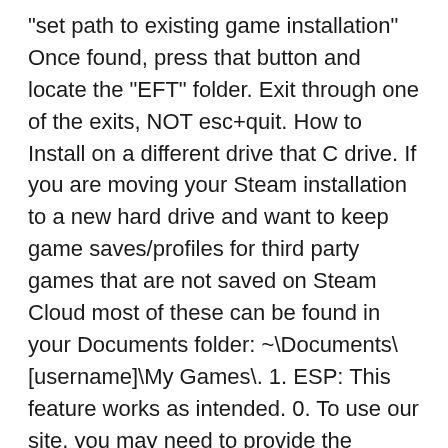"set path to existing game installation" Once found, press that button and locate the "EFT" folder. Exit through one of the exits, NOT esc+quit. How to Install on a different drive that C drive. If you are moving your Steam installation to a new hard drive and want to keep game saves/profiles for third party games that are not saved on Steam Cloud most of these can be found in your Documents folder: ~\Documents\[username]\My Games\. 1. ESP: This feature works as intended. 0. To use our site, you may need to provide the information specified in the Security Policy, for example, Cookie files. because when i click install it say my Hard Disk is full and i find no place can switch the location The other two are to manually install Blizzard games to another drive. There are three proven ways to move Blizzard games to a different drive. 6. I've tried installing the launcher on